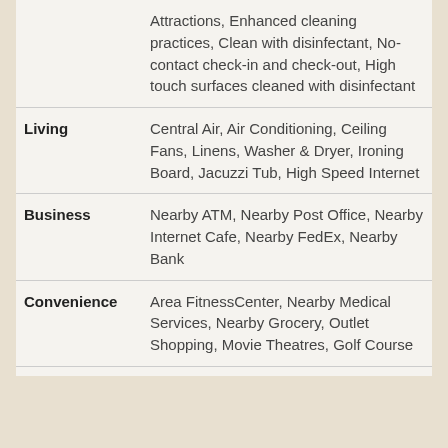| Category | Details |
| --- | --- |
|  | Attractions, Enhanced cleaning practices, Clean with disinfectant, No-contact check-in and check-out, High touch surfaces cleaned with disinfectant |
| Living | Central Air, Air Conditioning, Ceiling Fans, Linens, Washer & Dryer, Ironing Board, Jacuzzi Tub, High Speed Internet |
| Business | Nearby ATM, Nearby Post Office, Nearby Internet Cafe, Nearby FedEx, Nearby Bank |
| Convenience | Area FitnessCenter, Nearby Medical Services, Nearby Grocery, Outlet Shopping, Movie Theatres, Golf Course |
| Outdoor | Deck, Patio, BBQ Grill, Gas Grill, Hot Tub, Beach |
| Geographic | Secluded, On Beach, Near Beach, Close to Town |
| Entertainment | Cable TV, DVD Player |